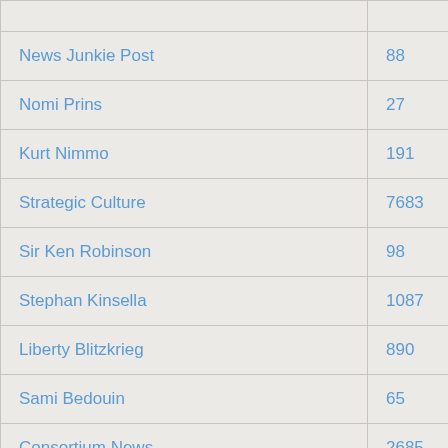| Name | Count |
| --- | --- |
| News Junkie Post | 88 |
| Nomi Prins | 27 |
| Kurt Nimmo | 191 |
| Strategic Culture | 7683 |
| Sir Ken Robinson | 98 |
| Stephan Kinsella | 1087 |
| Liberty Blitzkrieg | 890 |
| Sami Bedouin | 65 |
| Consortium News | 2685 |
| 21 Century Wire | 5975 |